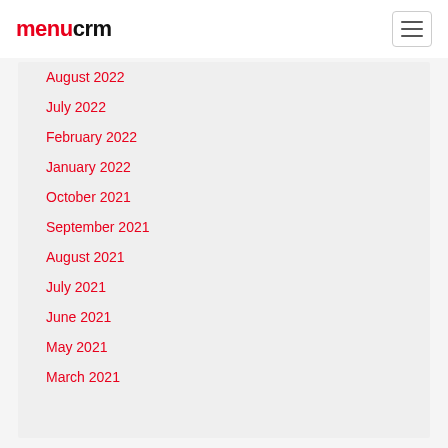menucrm
August 2022
July 2022
February 2022
January 2022
October 2021
September 2021
August 2021
July 2021
June 2021
May 2021
March 2021